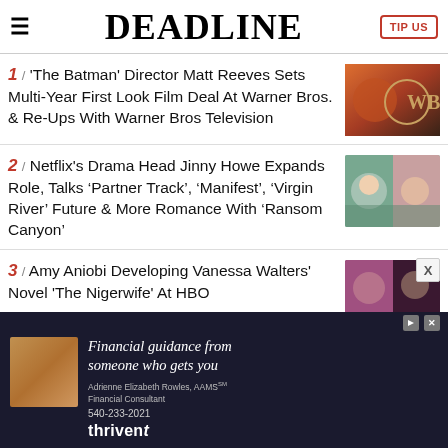DEADLINE | TIP US
1 / 'The Batman' Director Matt Reeves Sets Multi-Year First Look Film Deal At Warner Bros. & Re-Ups With Warner Bros Television
2 / Netflix's Drama Head Jinny Howe Expands Role, Talks ‘Partner Track’, ‘Manifest’, ‘Virgin River’ Future & More Romance With ‘Ransom Canyon’
3 / Amy Aniobi Developing Vanessa Walters' Novel 'The Nigerwife' At HBO
[Figure (infographic): Advertisement banner: Financial guidance from someone who gets you. Adrienne Elizabeth Rowles, AAMS Financial Consultant. 540-233-2021. Thrivent.]